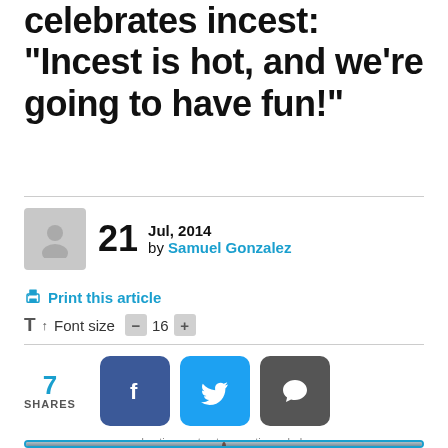celebrates incest: "Incest is hot, and we’re going to have fun!"
[Figure (photo): Author avatar placeholder icon (grey silhouette)]
21  Jul, 2014
by Samuel Gonzalez
Print this article
T↑ Font size  -  16  +
7 SHARES
[Figure (infographic): Social share buttons: Facebook (f), Twitter (bird), Comment (speech bubble)]
advertisement - story continues below
[Figure (photo): Advertisement image showing a dinosaur neck against a sky background, with a green J badge in top right corner]